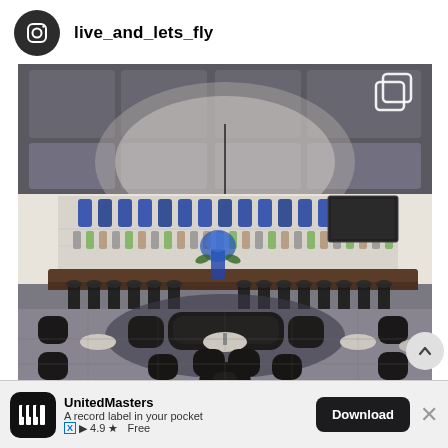live_and_lets_fly
[Figure (photo): Interior of an upscale airport lounge or restaurant bar with coffered ceiling, circular pendant light fixture, long bar counter with blue bottle displays, dark leather seating chairs and sofas arranged around small tables on a circular rug, marble-look tile floor.]
UnitedMasters
A record label in your pocket
4.9 ★ Free
Download